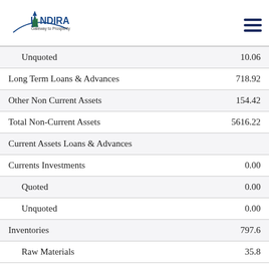INDIRA – Gateway to Prosperity
| Item | Value |
| --- | --- |
| Unquoted | 10.06 |
| Long Term Loans & Advances | 718.92 |
| Other Non Current Assets | 154.42 |
| Total Non-Current Assets | 5616.22 |
| Current Assets Loans & Advances |  |
| Currents Investments | 0.00 |
| Quoted | 0.00 |
| Unquoted | 0.00 |
| Inventories | 797.6 |
| Raw Materials | 35.8 |